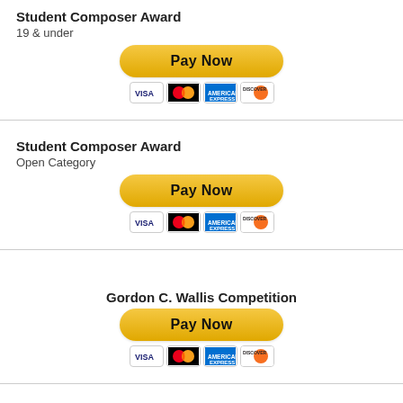Student Composer Award
19 & under
[Figure (other): Pay Now button with credit card icons (Visa, Mastercard, American Express, Discover)]
Student Composer Award
Open Category
[Figure (other): Pay Now button with credit card icons (Visa, Mastercard, American Express, Discover)]
Gordon C. Wallis Competition
[Figure (other): Pay Now button with credit card icons (Visa, Mastercard, American Express, Discover)]